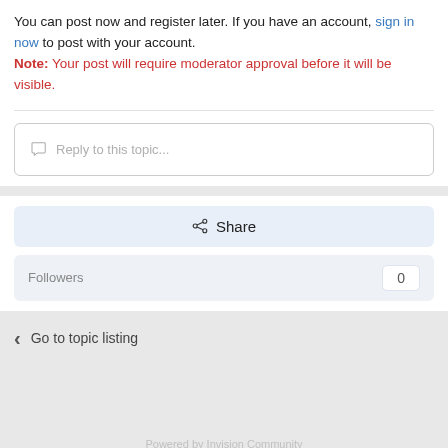You can post now and register later. If you have an account, sign in now to post with your account.
Note: Your post will require moderator approval before it will be visible.
Reply to this topic...
Share
Followers  0
Go to topic listing
Powered by Invision Community